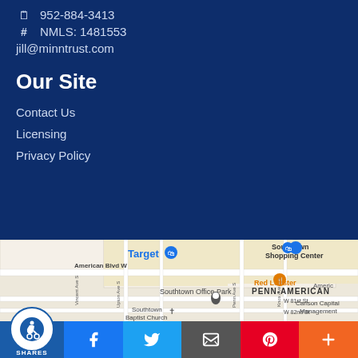952-884-3413
NMLS: 1481553
jill@minntrust.com
Our Site
Contact Us
Licensing
Privacy Policy
[Figure (map): Google Maps showing area around Southtown Office Park, Bloomington MN. Visible landmarks: Target, Southtown Shopping Center, Red Lobster, Southtown Baptist Church, Penn-American area, Carlson Capital Management. Streets: American Blvd W, W 81st St, W 82nd St, Penn Ave S, Vincent Ave S, Upton Ave S, Knox Ave S.]
SHARES | Facebook | Twitter | Email | Pinterest | More